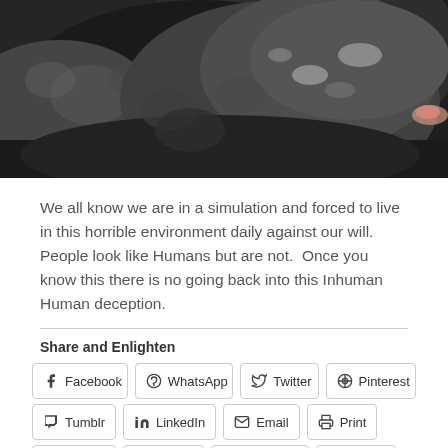[Figure (photo): Close-up photograph of large dark grey marine mammals, possibly seals or sea lions, with mottled wet skin texture]
We all know we are in a simulation and forced to live in this horrible environment daily against our will. People look like Humans but are not.  Once you know this there is no going back into this Inhuman Human deception.
Share and Enlighten
Facebook  WhatsApp  Twitter  Pinterest  Tumblr  LinkedIn  Email  Print  Pocket  Reddit  Telegram  Skype
Loading...